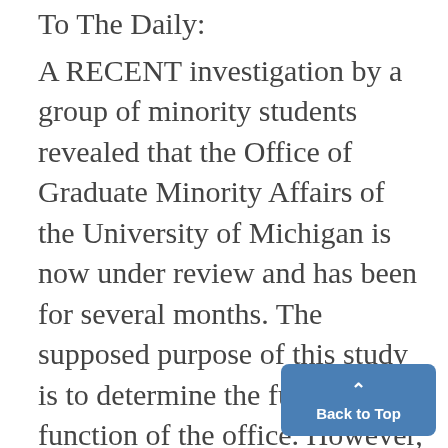To The Daily: A RECENT investigation by a group of minority students revealed that the Office of Graduate Minority Affairs of the University of Michigan is now under review and has been for several months. The supposed purpose of this study is to determine the future function of the office. However, until one week ago the entire study was shrouded in a cloud of secrecy which one administration offic-
[Figure (other): Back to Top button — a blue rounded rectangle with an upward caret arrow and the text 'Back to Top' in white bold font]